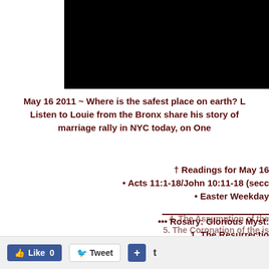[Figure (photo): Black rectangle representing a video thumbnail or image placeholder]
May 16 2011 ~ Where is the safest place on earth? Listen to Louie from the Bronx share his story of marriage rally in NYC today, on One…
† Readings for May 16
• Acts 11:1-18/John 10:11-18 (secon…
• Easter Weekday
••• Rosary: Glorious Myst…
1. The Resurrectio…
2. The Ascension
3. The Descent of the Ho…
4. The Assumption of the…
5. The Coronation of the…
Like 0   Tweet   +   t